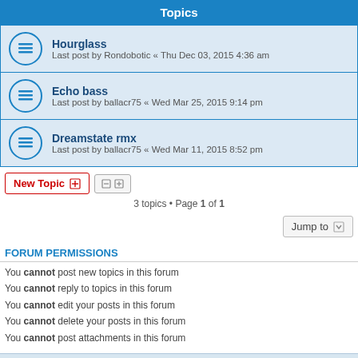Topics
Hourglass
Last post by Rondobotic « Thu Dec 03, 2015 4:36 am
Echo bass
Last post by ballacr75 « Wed Mar 25, 2015 9:14 pm
Dreamstate rmx
Last post by ballacr75 « Wed Mar 11, 2015 8:52 pm
3 topics • Page 1 of 1
FORUM PERMISSIONS
You cannot post new topics in this forum
You cannot reply to topics in this forum
You cannot edit your posts in this forum
You cannot delete your posts in this forum
You cannot post attachments in this forum
WarmPlace.ru · Board index   Delete cookies   All times are UTC+05:00
Powered by phpBB® Forum Software © phpBB Limited
Privacy | Terms